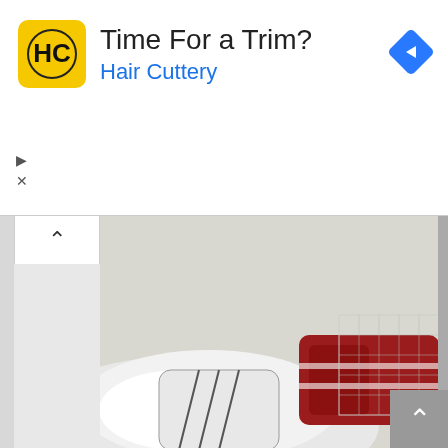[Figure (infographic): Hair Cuttery advertisement banner with yellow HC logo, 'Time For a Trim?' headline, 'Hair Cuttery' subtitle in blue, and a blue diamond navigation arrow on the right]
[Figure (photo): Close-up photo of a hockey goalie's equipment including white blocker/glove and red padded gear on ice]
REVIEWS A-PLENTY AT JETS/WINGS AS SITUATION ROOM WEIGHS IN ON 3 GOALS
11.5.16
[Figure (photo): Hockey game photo showing players on ice, including New Jersey Devils players in white jerseys and opponents, with 'checked' text visible at bottom]